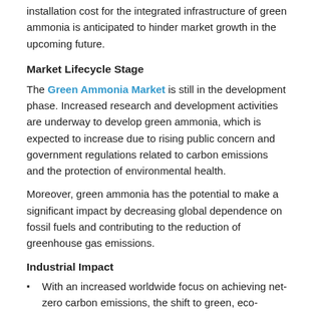installation cost for the integrated infrastructure of green ammonia is anticipated to hinder market growth in the upcoming future.
Market Lifecycle Stage
The Green Ammonia Market is still in the development phase. Increased research and development activities are underway to develop green ammonia, which is expected to increase due to rising public concern and government regulations related to carbon emissions and the protection of environmental health.
Moreover, green ammonia has the potential to make a significant impact by decreasing global dependence on fossil fuels and contributing to the reduction of greenhouse gas emissions.
Industrial Impact
With an increased worldwide focus on achieving net-zero carbon emissions, the shift to green, eco-friendly, sustainable technologies brings significant sales and financing opportunities. This shift was prominently experienced in regions such as North America, Europe, and some Asian countries.
Furthermore, green ammonia has a low to moderate impact on the fertilizer and transportation fuel industry; however, in the